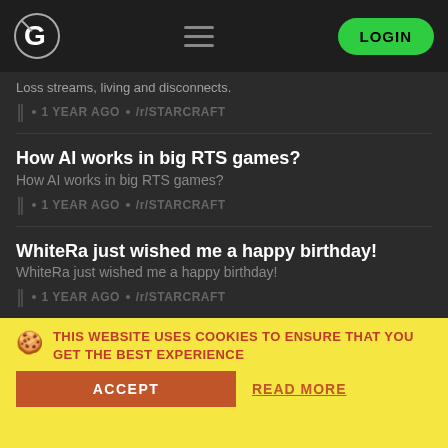G [logo] | LOGIN
Loss streams, living and disconnects.
1 YEAR AGO · /r/STARCRAFT
How AI works in big RTS games?
How AI works in big RTS games?
1 YEAR AGO · /r/STARCRAFT
WhiteRa just wished me a happy birthday!
WhiteRa just wished me a happy birthday!
1 YEAR AGO · /r/STARCRAFT
2 Mods in Starcraft 2
2 Mods in Starcraft 2
1 YEAR AGO · /r/STARCRAFT
THIS WEBSITE USES COOKIES TO ENSURE THAT YOU GET THE BEST EXPERIENCE
ACCEPT
READ MORE